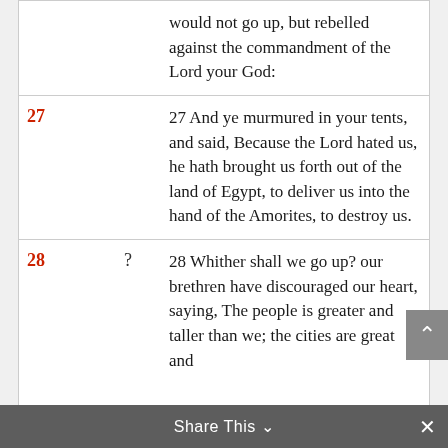| Verse | Symbol | Text |
| --- | --- | --- |
|  |  | would not go up, but rebelled against the commandment of the Lord your God: |
| 27 |  | 27 And ye murmured in your tents, and said, Because the Lord hated us, he hath brought us forth out of the land of Egypt, to deliver us into the hand of the Amorites, to destroy us. |
| 28 | ? | 28 Whither shall we go up? our brethren have discouraged our heart, saying, The people is greater and taller than we; the cities are great and |
Share This ∨  ✕